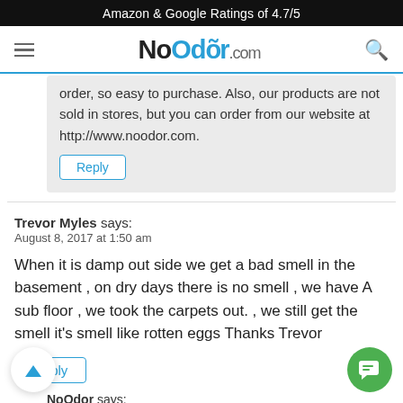Amazon & Google Ratings of 4.7/5
[Figure (screenshot): NoOdor.com website navigation bar with hamburger menu, logo, and search icon]
...order, so easy to purchase. Also, our products are not sold in stores, but you can order from our website at http://www.noodor.com.
Reply
Trevor Myles says:
August 8, 2017 at 1:50 am
When it is damp out side we get a bad smell in the basement , on dry days there is no smell , we have A sub floor , we took the carpets out. , we still get the smell it's smell like rotten eggs Thanks Trevor
Reply
NoOdor says:
March 5, 2018 at 7:34 pm